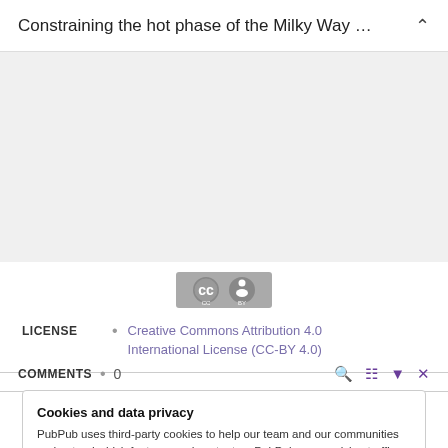Constraining the hot phase of the Milky Way …
[Figure (logo): Creative Commons CC-BY license badge]
LICENSE • Creative Commons Attribution 4.0 International License (CC-BY 4.0)
COMMENTS • 0
Cookies and data privacy
PubPub uses third-party cookies to help our team and our communities understand which features and content on PubPub are receiving traffic. We don't sell this data or share it with anyone else, and we don't use third-party processors who aggregate and sell data. Visit your privacy settings to learn more.
No comments here